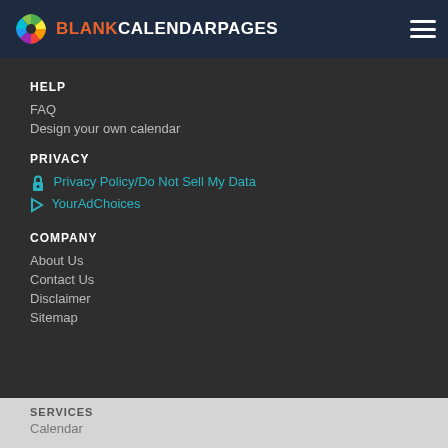BLANKCALENDARPAGES
HELP
FAQ
Design your own calendar
PRIVACY
Privacy Policy/Do Not Sell My Data
YourAdChoices
COMPANY
About Us
Contact Us
Disclaimer
Sitemap
SERVICES
Calendar